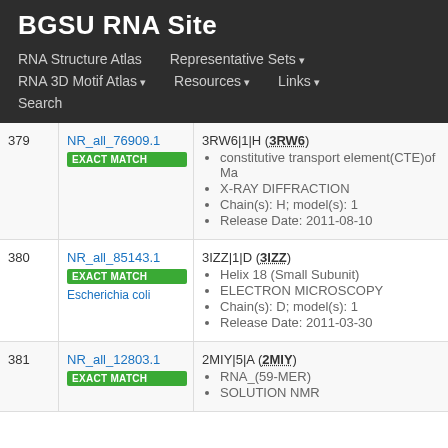BGSU RNA Site
RNA Structure Atlas | Representative Sets ▾ | RNA 3D Motif Atlas ▾ | Resources ▾ | Links ▾ | Search
| # | ID | Entry |
| --- | --- | --- |
| 379 | NR_all_76909.1 EXACT MATCH | 3RW6|1|H (3RW6) • constitutive transport element(CTE)of Ma • X-RAY DIFFRACTION • Chain(s): H; model(s): 1 • Release Date: 2011-08-10 |
| 380 | NR_all_85143.1 EXACT MATCH Escherichia coli | 3IZZ|1|D (3IZZ) • Helix 18 (Small Subunit) • ELECTRON MICROSCOPY • Chain(s): D; model(s): 1 • Release Date: 2011-03-30 |
| 381 | NR_all_12803.1 EXACT MATCH | 2MIY|5|A (2MIY) • RNA_(59-MER) • SOLUTION NMR |